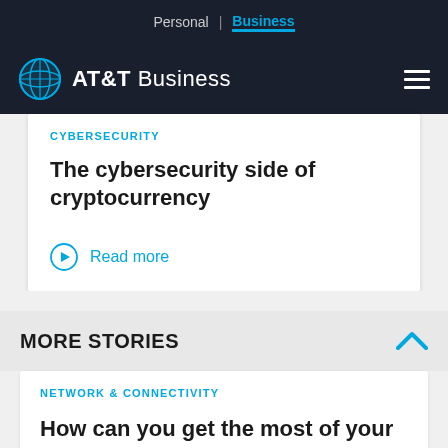Personal | Business
[Figure (logo): AT&T Business logo with globe icon and hamburger menu]
CYBERSECURITY
The cybersecurity side of cryptocurrency
Read more
MORE STORIES
NETWORK & CONNECTIVITY
How can you get the most of your network?